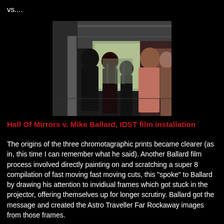vs....
[Figure (photo): Dark indoor space showing several people standing in what appears to be an industrial or gallery setting. Two figures in the foreground are seen from behind, with another person in a pink shirt visible to the right. The background shows a well-lit corridor with columns and equipment.]
Hall Of Mirrors v. Mike Ballard, IDST film installation
The origins of the three chromotagraphic prints became clearer (as in, this time I can remember what he said). Another Ballard film process involved directly painting on and scratching a super 8 compilation of fast moving fast moving cuts, this "spoke" to Ballard by drawing his attention to invidiual frames which got stuck in the projector, offering themselves up for longer scrutiny. Ballard got the message and created the Astro Traveller Far Rockaway images from those frames.